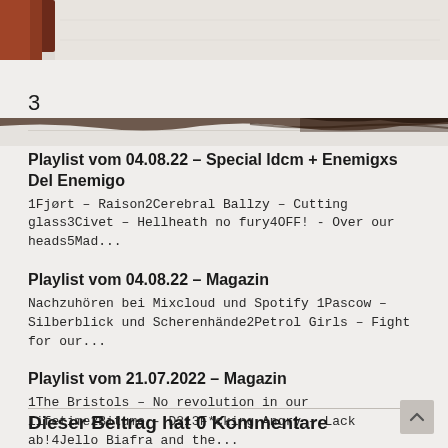[Figure (photo): Partial decorative image at top of page, appears to be a dark reddish/brown artistic element on a light background with torn paper texture]
3
Playlist vom 04.08.22 – Special ldcm + Enemigxs Del Enemigo
1Fjørt – Raison2Cerebral Ballzy – Cutting glass3Civet – Hellheath no fury4OFF! - Over our heads5Mad...
Playlist vom 04.08.22 – Magazin
Nachzuhören bei Mixcloud und Spotify 1Pascow – Silberblick und Scherenhände2Petrol Girls – Fight for our...
Playlist vom 21.07.2022 – Magazin
1The Bristols – No revolution in our lifetime2Bitume - D213F*cking Angry – Lack ab!4Jello Biafra and the...
Dieser Beitrag hat 0 Kommentare